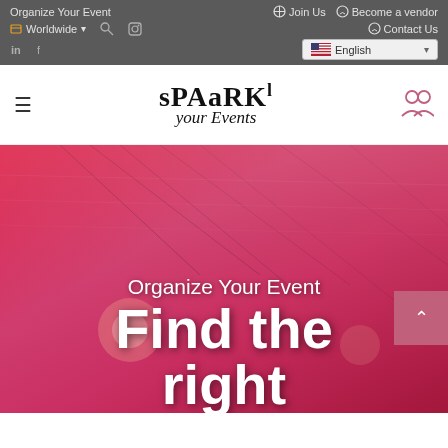Organize Your Event | Join Us | Become a vendor | Contact Us | Worldwide | English
[Figure (logo): SPaARKl your Events logo - stylized text with mixed case letters]
[Figure (photo): Hero image of event venue with pink/magenta lighting, string lights and chandelier, with overlaid text 'Organize Your Event' and 'Find the right']